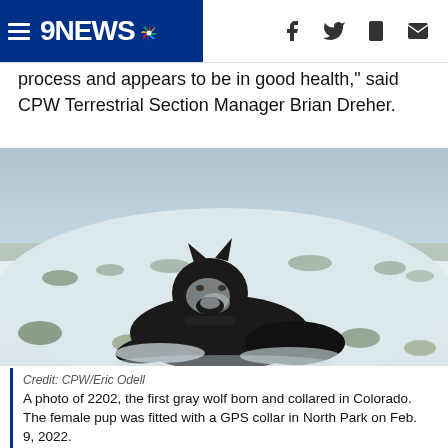9NEWS
process and appears to be in good health," said CPW Terrestrial Section Manager Brian Dreher.
[Figure (photo): A black wolf lying in snow in a snowy landscape with sagebrush. The wolf has snow on its face and is looking at the camera.]
Credit: CPW/Eric Odell
A photo of 2202, the first gray wolf born and collared in Colorado. The female pup was fitted with a GPS collar in North Park on Feb. 9, 2022.